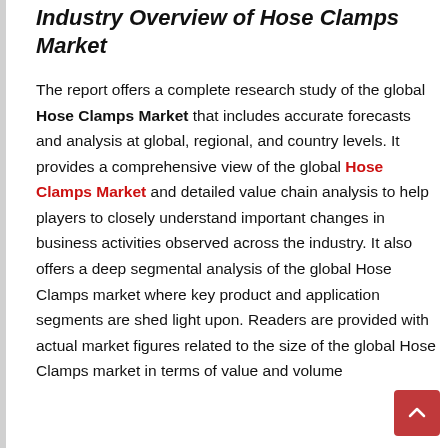Industry Overview of Hose Clamps Market
The report offers a complete research study of the global Hose Clamps Market that includes accurate forecasts and analysis at global, regional, and country levels. It provides a comprehensive view of the global Hose Clamps Market and detailed value chain analysis to help players to closely understand important changes in business activities observed across the industry. It also offers a deep segmental analysis of the global Hose Clamps market where key product and application segments are shed light upon. Readers are provided with actual market figures related to the size of the global Hose Clamps market in terms of value and volume